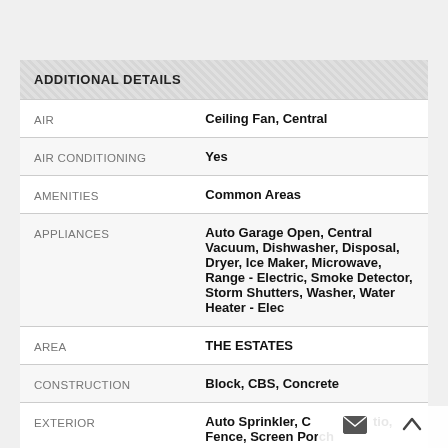|  | ADDITIONAL DETAILS |
| --- | --- |
| AIR | Ceiling Fan, Central |
| AIR CONDITIONING | Yes |
| AMENITIES | Common Areas |
| APPLIANCES | Auto Garage Open, Central Vacuum, Dishwasher, Disposal, Dryer, Ice Maker, Microwave, Range - Electric, Smoke Detector, Storm Shutters, Washer, Water Heater - Elec |
| AREA | THE ESTATES |
| CONSTRUCTION | Block, CBS, Concrete |
| EXTERIOR | Auto Sprinkler, Covered Patio, Fence, Screen Porch |